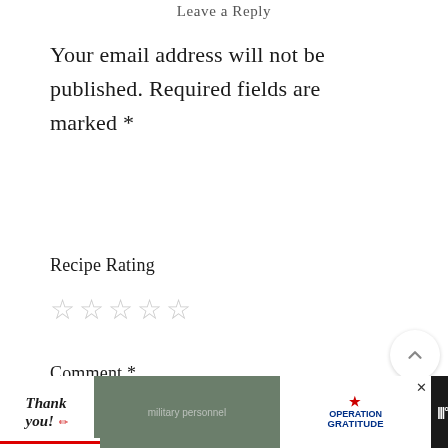Leave a Reply
Your email address will not be published. Required fields are marked *
Recipe Rating
☆☆☆☆☆
Comment *
[Figure (screenshot): Sidebar UI with up-arrow button, count 87, heart button, and search button]
[Figure (photo): Advertisement banner: thank you handwriting with flag pencil, military personnel photo, Operation Gratitude logo, weather app icon]